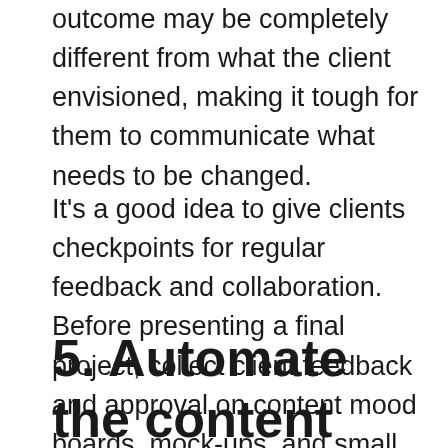outcome may be completely different from what the client envisioned, making it tough for them to communicate what needs to be changed.
It's a good idea to give clients checkpoints for regular feedback and collaboration. Before presenting a final project, collect client feedback and approval on content mood boards, mock-ups, and small sections of the project. Make sure the client is involved in every step to ensure you are both on the same page.
5. Automate the content collaboration